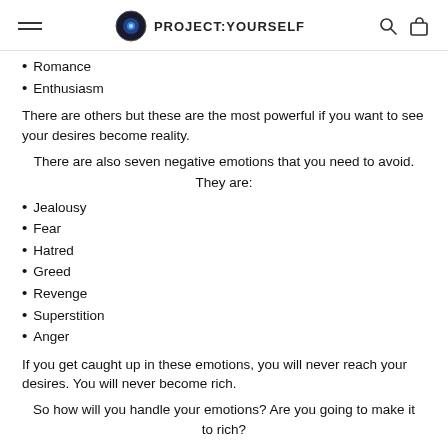PROJECT:YOURSELF
Romance
Enthusiasm
There are others but these are the most powerful if you want to see your desires become reality.
There are also seven negative emotions that you need to avoid. They are:
Jealousy
Fear
Hatred
Greed
Revenge
Superstition
Anger
If you get caught up in these emotions, you will never reach your desires. You will never become rich.
So how will you handle your emotions? Are you going to make it to rich?